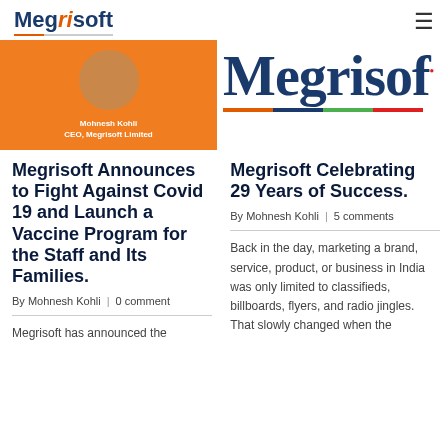Megrisoft
[Figure (photo): Orange background image with a circular portrait of Mohnesh Kohli, CEO Megrisoft Limited]
[Figure (logo): Megrisoft logo in large navy blue text with a red dot and a multicolor underbar (orange, blue, green, red)]
Megrisoft Announces to Fight Against Covid 19 and Launch a Vaccine Program for the Staff and Its Families.
By Mohnesh Kohli  |  0 comment
Megrisoft has announced the
Megrisoft Celebrating 29 Years of Success.
By Mohnesh Kohli  |  5 comments
Back in the day, marketing a brand, service, product, or business in India was only limited to classifieds, billboards, flyers, and radio jingles. That slowly changed when the